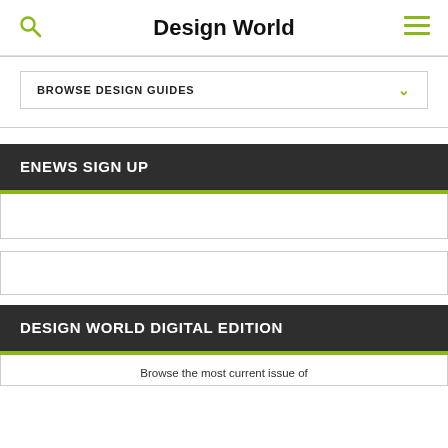Design World
BROWSE DESIGN GUIDES
ENEWS SIGN UP
DESIGN WORLD DIGITAL EDITION
Browse the most current issue of